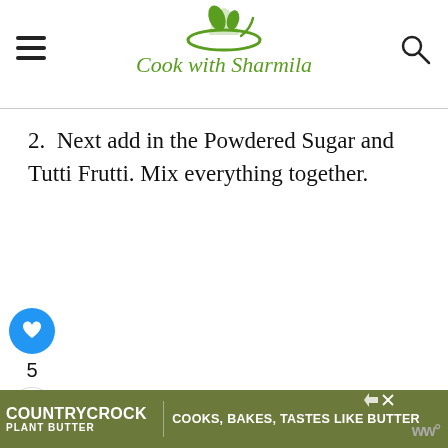Cook with Sharmila
2. Next add in the Powdered Sugar and Tutti Frutti. Mix everything together.
[Figure (other): Blue circular heart/like button icon, count '5', and share icon button on left sidebar]
[Figure (other): What's Next thumbnail: Christmas Sugar Cookies]
d in Melted butter and Coconut oil.
Mix everything well.
[Figure (other): Advertisement banner: Country Crock Plant Butter - Cooks, Bakes, Tastes Like Butter]